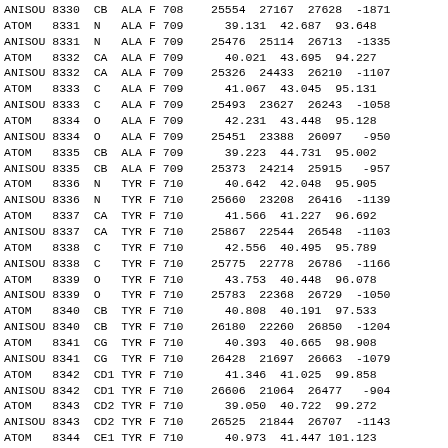ANISOU 8330  CB  ALA F 708    25554  27167  27628  -1871
ATOM   8331  N   ALA F 709      39.131  42.687  93.648
ANISOU 8331  N   ALA F 709    25476  25114  26713  -1335
ATOM   8332  CA  ALA F 709      40.021  43.695  94.227
ANISOU 8332  CA  ALA F 709    25326  24433  26210  -1107
ATOM   8333  C   ALA F 709      41.067  43.045  95.131
ANISOU 8333  C   ALA F 709    25493  23627  26243  -1058
ATOM   8334  O   ALA F 709      42.231  43.448  95.128
ANISOU 8334  O   ALA F 709    25451  23388  26097   -950
ATOM   8335  CB  ALA F 709      39.223  44.731  95.002
ANISOU 8335  CB  ALA F 709    25373  24214  25915   -957
ATOM   8336  N   TYR F 710      40.642  42.048  95.905
ANISOU 8336  N   TYR F 710    25660  23208  26416  -1139
ATOM   8337  CA  TYR F 710      41.566  41.227  96.692
ANISOU 8337  CA  TYR F 710    25867  22544  26548  -1103
ATOM   8338  C   TYR F 710      42.556  40.495  95.789
ANISOU 8338  C   TYR F 710    25775  22778  26786  -1166
ATOM   8339  O   TYR F 710      43.753  40.448  96.078
ANISOU 8339  O   TYR F 710    25783  22368  26729  -1050
ATOM   8340  CB  TYR F 710      40.808  40.191  97.533
ANISOU 8340  CB  TYR F 710    26180  22260  26850  -1204
ATOM   8341  CG  TYR F 710      40.393  40.665  98.908
ANISOU 8341  CG  TYR F 710    26428  21697  26663  -1079
ATOM   8342  CD1 TYR F 710      41.346  41.025  99.858
ANISOU 8342  CD1 TYR F 710    26606  21064  26477   -904
ATOM   8343  CD2 TYR F 710      39.050  40.722  99.272
ANISOU 8343  CD2 TYR F 710    26525  21844  26707  -1143
ATOM   8344  CE1 TYR F 710      40.973  41.447 101.123
ANISOU 8344  CE1 TYR F 710    26933  20623  26359   -799
ATOM   8345  CE2 TYR F 710      38.668  41.142 100.535